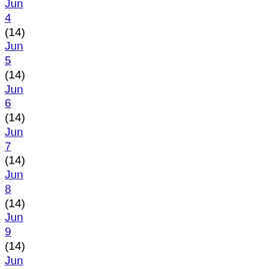Jun 4 (14)
Jun 5 (14)
Jun 6 (14)
Jun 7 (14)
Jun 8 (14)
Jun 9 (14)
Jun 10 (14)
Jun 11 (14)
Jun